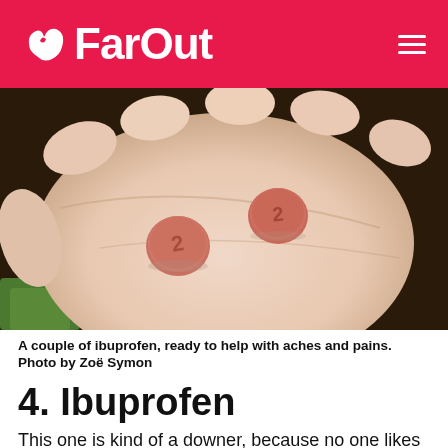FarOut
[Figure (photo): A close-up photo of a person's open palm holding two round salmon/orange-colored ibuprofen tablets, each stamped with the number 2. The background shows greenery.]
A couple of ibuprofen, ready to help with aches and pains.
Photo by Zoë Symon
4. Ibuprofen
This one is kind of a downer, because no one likes to